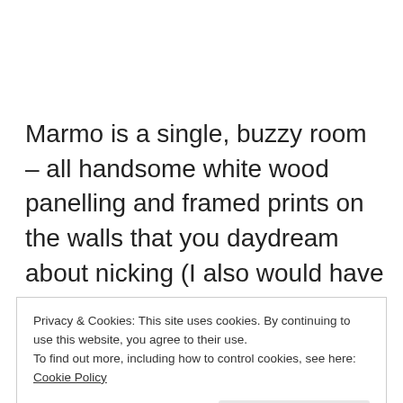Marmo is a single, buzzy room – all handsome white wood panelling and framed prints on the walls that you daydream about nicking (I also would have loved one of the branded wineglasses, come to think of it). There's a tiny kitchen at the back, clearly in view, where all the magic happens. Our table was in
Privacy & Cookies: This site uses cookies. By continuing to use this website, you agree to their use.
To find out more, including how to control cookies, see here: Cookie Policy
Close and accept
in the eleventh arrondisement